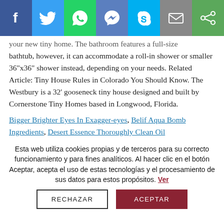[Figure (other): Social media share bar with icons for Facebook, Twitter, WhatsApp, Messenger, Skype, Email, and Share]
your new tiny home. The bathroom features a full-size bathtub, however, it can accommodate a roll-in shower or smaller 36"x36" shower instead, depending on your needs. Related Article: Tiny House Rules in Colorado You Should Know. The Westbury is a 32' gooseneck tiny house designed and built by Cornerstone Tiny Homes based in Longwood, Florida.
Bigger Brighter Eyes In Exagger-eyes, Belif Aqua Bomb Ingredients, Desert Essence Thoroughly Clean Oil
Esta web utiliza cookies propias y de terceros para su correcto funcionamiento y para fines analíticos. Al hacer clic en el botón Aceptar, acepta el uso de estas tecnologías y el procesamiento de sus datos para estos propósitos. Ver
RECHAZAR   ACEPTAR